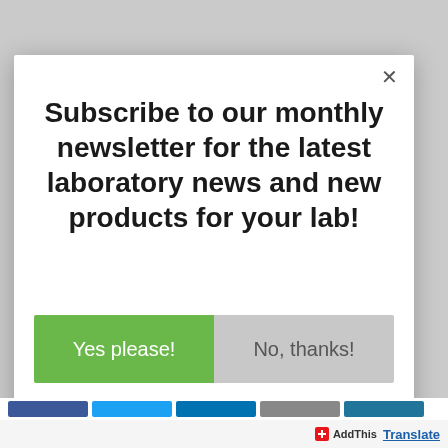Subscribe to our monthly newsletter for the latest laboratory news and new products for your lab!
Yes please!
No, thanks!
[Figure (screenshot): AddThis social sharing toolbar at bottom of page]